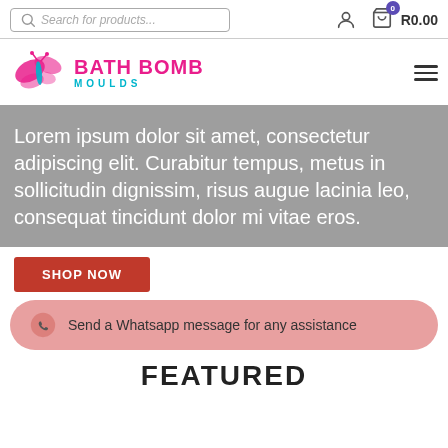Search for products... | user icon | cart R0.00
[Figure (logo): Bath Bomb Moulds logo with butterfly graphic, pink and teal text]
Lorem ipsum dolor sit amet, consectetur adipiscing elit. Curabitur tempus, metus in sollicitudin dignissim, risus augue lacinia leo, consequat tincidunt dolor mi vitae eros.
SHOP NOW
Send a Whatsapp message for any assistance
FEATURED